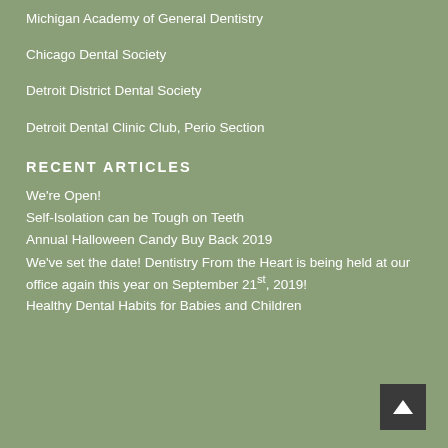Michigan Academy of General Dentistry
Chicago Dental Society
Detroit District Dental Society
Detroit Dental Clinic Club, Perio Section
RECENT ARTICLES
We're Open!
Self-Isolation can be Tough on Teeth
Annual Halloween Candy Buy Back 2019
We've set the date!  Dentistry From the Heart is being held at our office again this year on September 21st, 2019!
Healthy Dental Habits for Babies and Children